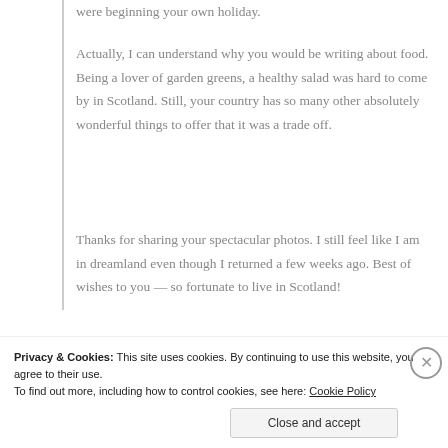were beginning your own holiday.
Actually, I can understand why you would be writing about food. Being a lover of garden greens, a healthy salad was hard to come by in Scotland. Still, your country has so many other absolutely wonderful things to offer that it was a trade off.
Thanks for sharing your spectacular photos. I still feel like I am in dreamland even though I returned a few weeks ago. Best of wishes to you — so fortunate to live in Scotland!
Privacy & Cookies: This site uses cookies. By continuing to use this website, you agree to their use.
To find out more, including how to control cookies, see here: Cookie Policy
Close and accept